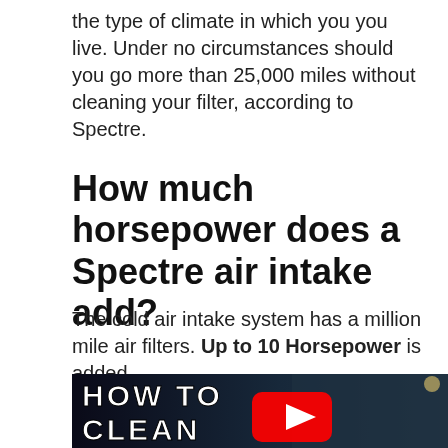the type of climate in which you you live. Under no circumstances should you go more than 25,000 miles without cleaning your filter, according to Spectre.
How much horsepower does a Spectre air intake add?
The cold air intake system has a million mile air filters. Up to 10 Horsepower is added.
[Figure (screenshot): YouTube video thumbnail showing a man holding an air filter with text 'HOW TO CLEAN AIR FILTER' and a YouTube play button overlay]